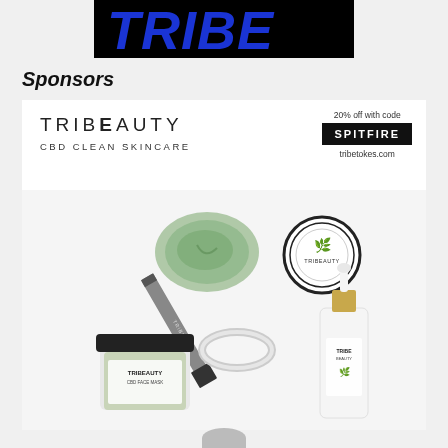[Figure (logo): Dark banner with large blue italic bold text reading TRIBE or similar logo letters on black background]
Sponsors
[Figure (photo): Tribeauty CBD Clean Skincare advertisement showing skincare products including a jar of CBD face mask, a brush applicator, a green clay bowl, a small round tin, and a dropper bottle. Text reads: TRIBEAUTY CBD CLEAN SKINCARE, 20% off with code SPITFIRE, tribetokes.com]